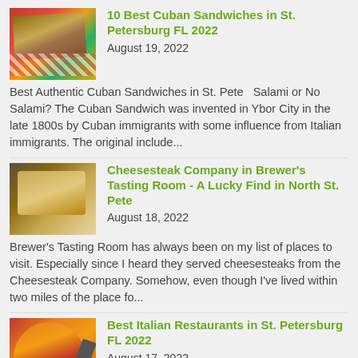[Figure (photo): Cuban sandwich on checkered paper]
10 Best Cuban Sandwiches in St. Petersburg FL 2022
August 19, 2022
Best Authentic Cuban Sandwiches in St. Pete   Salami or No Salami? The Cuban Sandwich was invented in Ybor City in the late 1800s by Cuban immigrants with some influence from Italian immigrants. The original include...
[Figure (photo): Cheesesteak sandwiches on a plate]
Cheesesteak Company in Brewer's Tasting Room - A Lucky Find in North St. Pete
August 18, 2022
Brewer's Tasting Room has always been on my list of places to visit. Especially since I heard they served cheesesteaks from the Cheesesteak Company. Somehow, even though I've lived within two miles of the place fo...
[Figure (photo): Italian pasta dish in a bowl with fork]
Best Italian Restaurants in St. Petersburg FL 2022
August 17, 2022
I moved to St. Petersburg a little over 13 years ago,  and